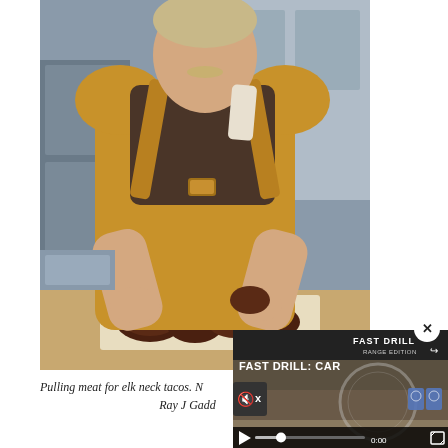[Figure (photo): A man wearing a brown apron and dark t-shirt pulling meat in a kitchen setting. He is preparing elk neck tacos, working with cooked meat pieces on a white cutting board on a wooden surface. Kitchen equipment visible in background.]
Pulling meat for elk neck tacos. N
Ray J Gadd
[Figure (screenshot): A video player overlay showing 'FAST DRILL: CAR' title text in white on dark background. Has a close (X) button in top right, mute button, progress bar at 0:00, play button, and fullscreen button. Background shows outdoor shooting range with targets and a circular graphic element. Top right corner shows 'FAST DRILL' and share icon.]